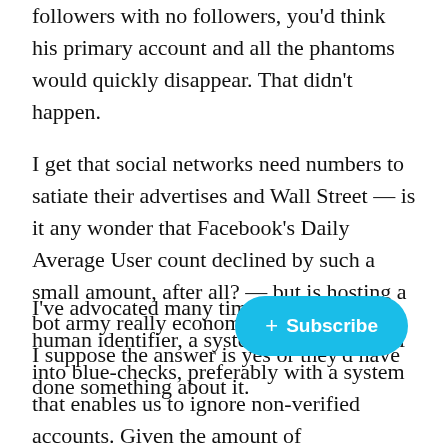followers with no followers, you'd think his primary account and all the phantoms would quickly disappear. That didn't happen.
I get that social networks need numbers to satiate their advertises and Wall Street — is it any wonder that Facebook's Daily Average User count declined by such a small amount, after all? — but is hosting a bot army really economically sustainable? I suppose the answer is yes or they'd have done something about it.
I've advocated many times a universal human identifier, a system that turns us all into blue-checks, preferably with a system that enables us to ignore non-verified accounts. Given the amount of misinformation in the political space, the opportunity soun seems like a social network of only ve even if they chose to use pseudonyms, could do